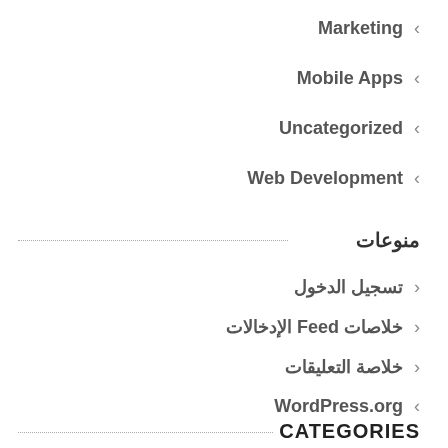Marketing ‹
Mobile Apps ‹
Uncategorized ‹
Web Development ‹
منوعات
‹ تسجيل الدخول
‹ خلاصات Feed الإدخالات
‹ خلاصة التعليقات
WordPress.org ‹
CATEGORIES